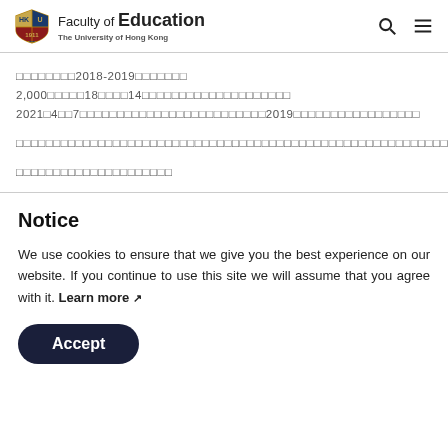Faculty of Education — The University of Hong Kong
□□□□□□□□2018-2019□□□□□□□ 2,000□□□□□18□□□□14□□□□□□□□□□□□□□□□□□□□ 2021□4□□7□□□□□□□□□□□□□□□□□□□□□□□□□2019□□□□□□□□□□□□□□□□□
□□□□□□□□□□□□□□□□□□□□□□□□□□□□□□□□□□□□□□□□□□□□□□□□□□□□□□□□□□□□□□□□□□□□□□□□□□□□□□□□□□□□□□□□□□□□□□□□□□□□□□□□□□□□□□□□□□□□□□□□□□□□□□□□□□□□□□□□□□□□□□□□□□□□□□□□□□□□□□□□□□□□□□□□□□□□□□□□□□□□□□□□□□□□□□□□□□□□□□□□□□□□□□□□□□□□□□□□□□□□□□□□□□□□□□□□□□□□□□□□□□□□□□□□□□□□□
□□□□□□□□□□□□□□□□□□□□□
Notice
We use cookies to ensure that we give you the best experience on our website. If you continue to use this site we will assume that you agree with it. Learn more ↗